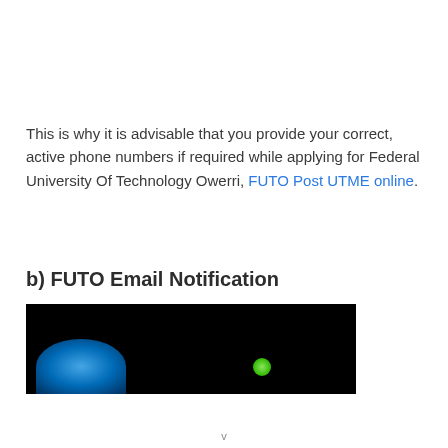This is why it is advisable that you provide your correct, active phone numbers if required while applying for Federal University Of Technology Owerri, FUTO Post UTME online.
b) FUTO Email Notification
[Figure (photo): Dark/black background image with a blue circular blob at the bottom left and a small green dot at the center-right, partially cropped.]
v